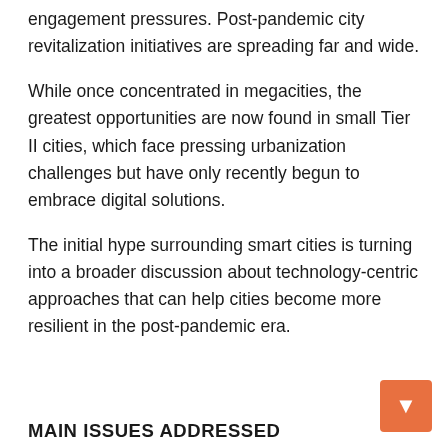engagement pressures. Post-pandemic city revitalization initiatives are spreading far and wide.
While once concentrated in megacities, the greatest opportunities are now found in small Tier II cities, which face pressing urbanization challenges but have only recently begun to embrace digital solutions.
The initial hype surrounding smart cities is turning into a broader discussion about technology-centric approaches that can help cities become more resilient in the post-pandemic era.
MAIN ISSUES ADDRESSED